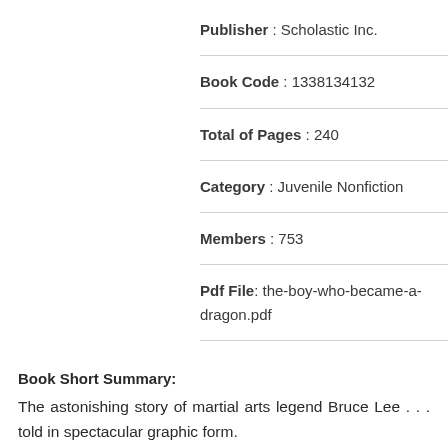Publisher : Scholastic Inc.
Book Code : 1338134132
Total of Pages : 240
Category : Juvenile Nonfiction
Members : 753
Pdf File: the-boy-who-became-a-dragon.pdf
Book Short Summary:
The astonishing story of martial arts legend Bruce Lee . . . told in spectacular graphic form.